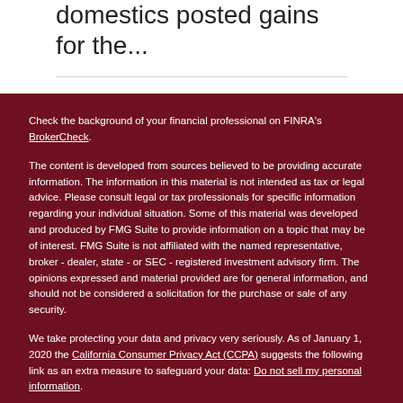domestics posted gains for the...
Check the background of your financial professional on FINRA's BrokerCheck.
The content is developed from sources believed to be providing accurate information. The information in this material is not intended as tax or legal advice. Please consult legal or tax professionals for specific information regarding your individual situation. Some of this material was developed and produced by FMG Suite to provide information on a topic that may be of interest. FMG Suite is not affiliated with the named representative, broker - dealer, state - or SEC - registered investment advisory firm. The opinions expressed and material provided are for general information, and should not be considered a solicitation for the purchase or sale of any security.
We take protecting your data and privacy very seriously. As of January 1, 2020 the California Consumer Privacy Act (CCPA) suggests the following link as an extra measure to safeguard your data: Do not sell my personal information.
Copyright 2022 FMG Suite.
Securities offered through LPL Financial, member FINRA/SIPC Investment advice offered through Charter Advisory Corporation, a registered investment advisor. Charter Adcisory Corporation, Frazzetta Financial Strategies, and LPL Financial are